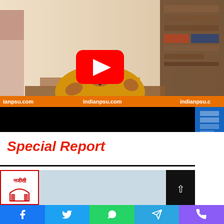[Figure (screenshot): YouTube video thumbnail showing a man in yellow kurta speaking, with indianpsu.com orange banner and YouTube play button overlay]
Special Report
[Figure (screenshot): Partial thumbnail of another article with a logo showing Indian text and an arch symbol]
[Figure (infographic): Social media share bar with Facebook, Twitter, WhatsApp, Telegram, and phone icons]